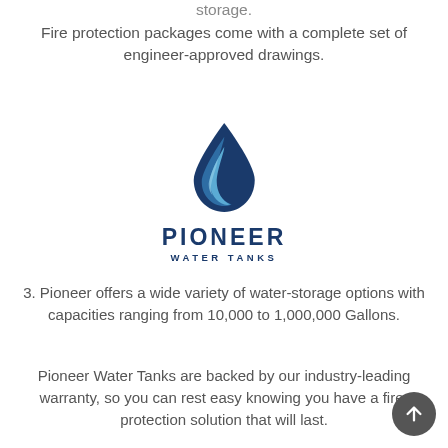storage.
Fire protection packages come with a complete set of engineer-approved drawings.
[Figure (logo): Pioneer Water Tanks logo: a water droplet icon in blue tones above the text PIONEER WATER TANKS in dark navy blue]
3. Pioneer offers a wide variety of water-storage options with capacities ranging from 10,000 to 1,000,000 Gallons.
Pioneer Water Tanks are backed by our industry-leading warranty, so you can rest easy knowing you have a fire-protection solution that will last.